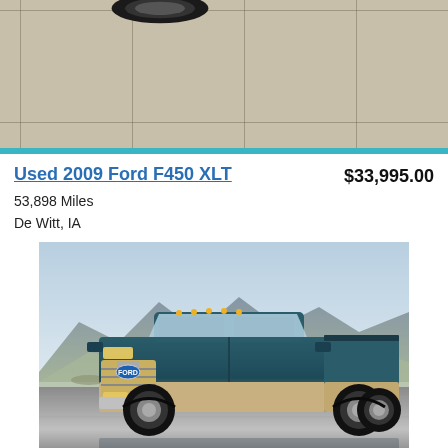[Figure (photo): Top portion of a vehicle tire visible over a beige/tan ceramic tile floor in a dealership showroom]
Used 2009 Ford F450 XLT
53,898 Miles
De Witt, IA
$33,995.00
[Figure (photo): 2009 Ford F450 XLT dark blue/teal truck photographed in front of mountain range backdrop]